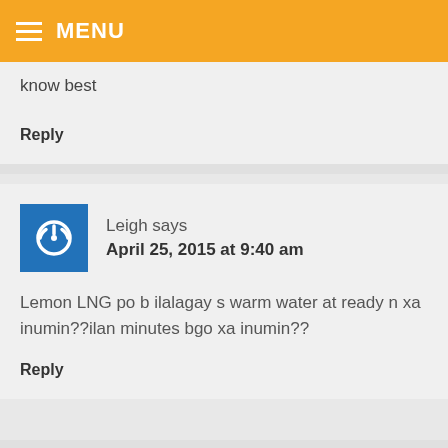MENU
know best
Reply
Leigh says
April 25, 2015 at 9:40 am
Lemon LNG po b ilalagay s warm water at ready n xa inumin??ilan minutes bgo xa inumin??
Reply